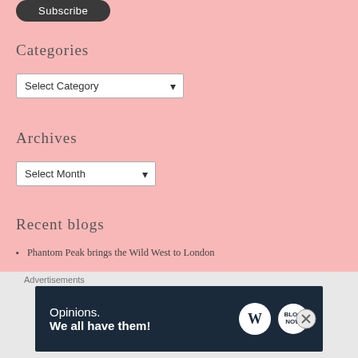[Figure (other): Subscribe button (dark rounded rectangle)]
Categories
[Figure (other): Select Category dropdown]
Archives
[Figure (other): Select Month dropdown]
Recent blogs
Phantom Peak brings the Wild West to London
Game of Thrones fans rejoice – Summer is coming!
Peaky Blinders The Rise Live Theatre Show don't **** with them
The Gunpowder Plot step back in time to 1605
Advertisements
[Figure (other): Advertisement banner: Opinions. We all have them! with WordPress and Blog logos]